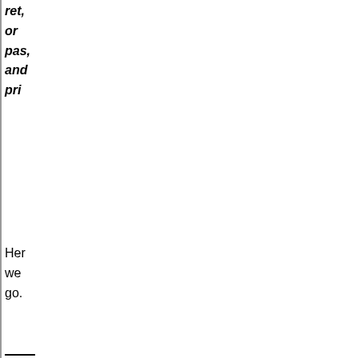ret, or pas, and pri
Her we go.
TH PA YO ON HA TO DO ON CR TH EN TH